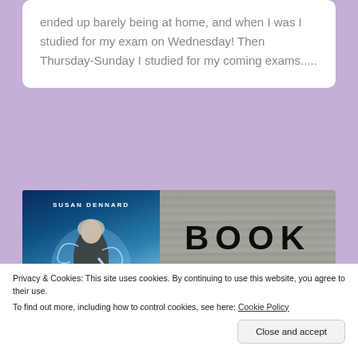ended up barely being at home, and when I was I studied for my exam on Wednesday! Then Thursday-Sunday I studied for my coming exams.....
[Figure (illustration): Book cover of 'Truthwitch' by Susan Dennard on the left (fantasy illustration with a woman warrior in blue magic), and a wooden plank background on the right with 'BOOK' text in large bold letters and a teal blob shape beneath it.]
Privacy & Cookies: This site uses cookies. By continuing to use this website, you agree to their use.
To find out more, including how to control cookies, see here: Cookie Policy
Close and accept
Truthwitch     Favourite!